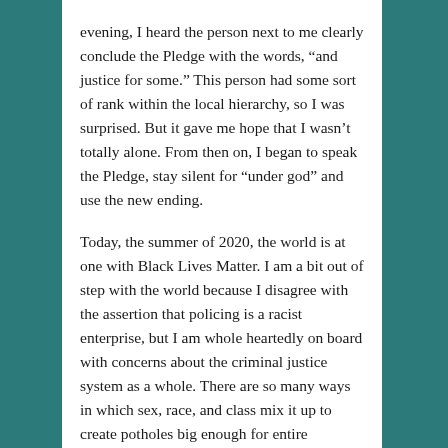evening, I heard the person next to me clearly conclude the Pledge with the words, “and justice for some.” This person had some sort of rank within the local hierarchy, so I was surprised. But it gave me hope that I wasn't totally alone. From then on, I began to speak the Pledge, stay silent for “under god” and use the new ending.
Today, the summer of 2020, the world is at one with Black Lives Matter. I am a bit out of step with the world because I disagree with the assertion that policing is a racist enterprise, but I am whole heartedly on board with concerns about the criminal justice system as a whole. There are so many ways in which sex, race, and class mix it up to create potholes big enough for entire neighborhoods to fall into.
If we set aside the specifics of the Michael Brown story in Ferguson, MO, it surely provided the impetus to expose ways in which the local justice system had been perverted. The city paid its bills by imposing fines that bear in proportion often and let...